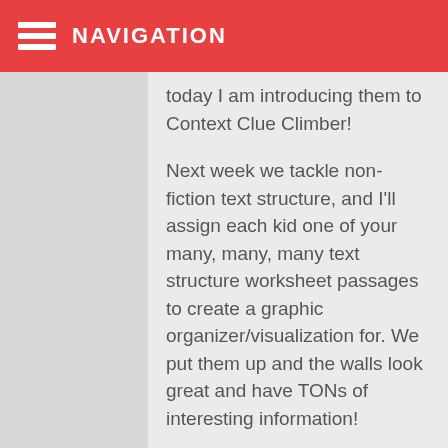NAVIGATION
today I am introducing them to Context Clue Climber!
Next week we tackle non-fiction text structure, and I'll assign each kid one of your many, many, many text structure worksheet passages to create a graphic organizer/visualization for. We put them up and the walls look great and have TONs of interesting information!
Thank you so much for being such a reliable and interesting